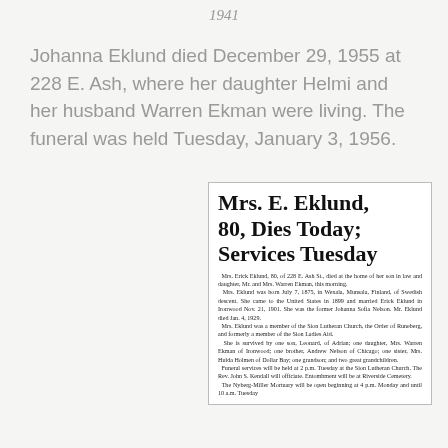1941
Johanna Eklund died December 29, 1955 at 228 E. Ash, where her daughter Helmi and her husband Warren Ekman were living. The funeral was held Tuesday, January 3, 1956.
[Figure (photo): Newspaper clipping with headline 'Mrs. E. Eklund, 80, Dies Today; Services Tuesday' and obituary text about Mrs. Erick Eklund, 80, of 228 E. Ash St., who died at the home of her son in law and daughter, Mr. and Mrs. Warren Ekman. The article describes her birth on July 7, 1875 in Wexala, Munsala, Finland, of Swedish descent, her immigration to the United States in 1899, marriage to Erick Eklund in Ironwood Nov. 21, 1901, her church memberships, survivors, and funeral service details.]